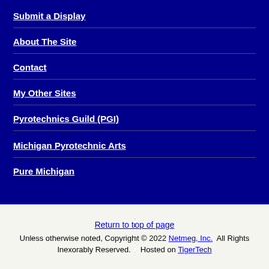Submit a Display
About The Site
Contact
My Other Sites
Pyrotechnics Guild (PGI)
Michigan Pyrotechnic Arts
Pure Michigan
Return to top of page
Unless otherwise noted, Copyright © 2022 Netmeg, Inc.  All Rights Inexorably Reserved.   Hosted on TigerTech